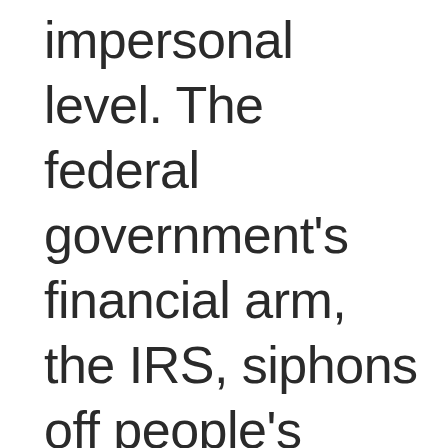impersonal level. The federal government's financial arm, the IRS, siphons off people's incomes in amounts it